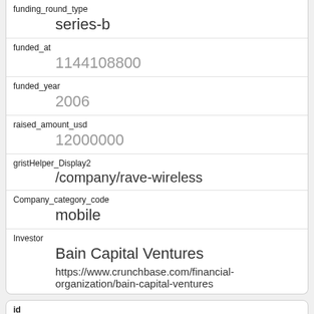| Field | Value |
| --- | --- |
| funding_round_type | series-b |
| funded_at | 1144108800 |
| funded_year | 2006 |
| raised_amount_usd | 12000000 |
| gristHelper_Display2 | /company/rave-wireless |
| Company_category_code | mobile |
| Investor | Bain Capital Ventures
https://www.crunchbase.com/financial-organization/bain-capital-ventures |
| Field | Value |
| --- | --- |
| id | 741 |
| manualSort |  |